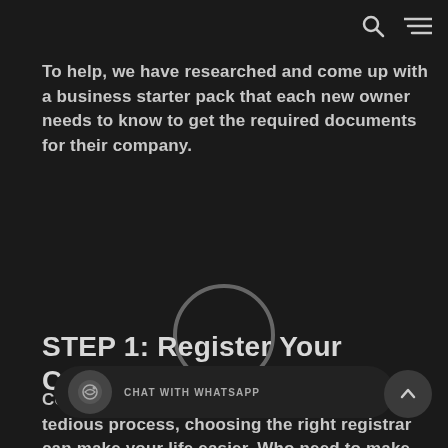[search icon] [menu icon]
To help, we have researched and come up with a business starter pack that each new owner needs to know to get the required documents for their company.
[Figure (illustration): A thin circle outline graphic overlay on the page, partially behind the STEP 1 heading text]
STEP 1: Register Your Company:
Contrary to the view that this is a long and tedious process, choosing the right registrar can make your life easier. Who need to make t...
[Figure (other): WhatsApp chat widget bar at the bottom with CHAT WITH WHATSAPP label and a scroll-to-top button]